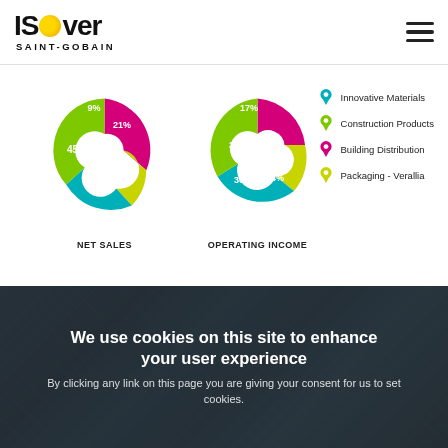[Figure (logo): ISOVER Saint-Gobain logo with yellow circle in the letter O]
[Figure (donut-chart): NET SALES]
[Figure (donut-chart): OPERATING INCOME]
[Figure (photo): Modern glass architecture building with geometric grid pattern in blue tones]
We use cookies on this site to enhance your user experience
By clicking any link on this page you are giving your consent for us to set cookies.